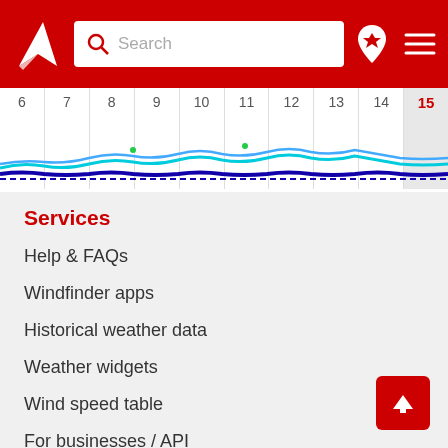Windfinder navigation header with search bar, location icon, and menu icon
[Figure (continuous-plot): Calendar strip showing days 6 through 15, with wind/wave chart lines in cyan, blue, and green below the day numbers. Day 15 is highlighted in red as today.]
Services
Help & FAQs
Windfinder apps
Historical weather data
Weather widgets
Wind speed table
For businesses / API
Company
About Windfinder
History & press